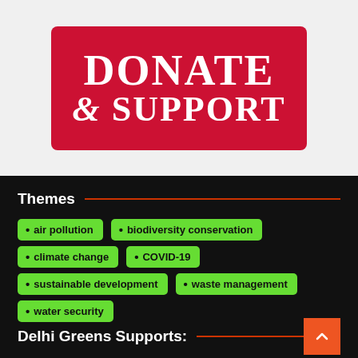[Figure (logo): Red rounded rectangle banner with white serif text reading 'DONATE & SUPPORT' on a light grey background]
Themes
air pollution
biodiversity conservation
climate change
COVID-19
sustainable development
waste management
water security
Delhi Greens Supports: